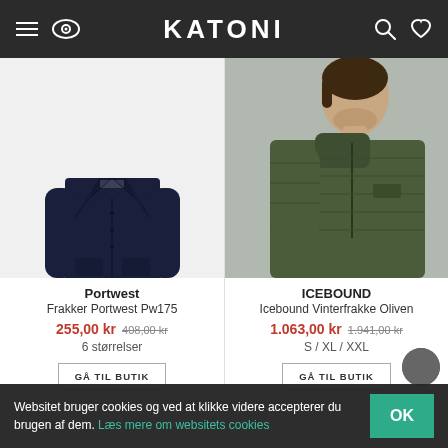KATONI
[Figure (photo): Navy dark blue long coat (Portwest Pw175) on white background]
[Figure (photo): Man wearing olive green quilted winter jacket (Icebound Vinterfrakke Oliven), upper body shot]
Portwest
Frakker Portwest Pw175
255,00 kr  408,00 kr
6 størrelser
GÅ TIL BUTIK
ICEBOUND
Icebound Vinterfrakke Oliven
1.063,00 kr  1.941,00 kr
S / XL / XXL
GÅ TIL BUTIK
Websitet bruger cookies og ved at klikke videre accepterer du brugen af dem. Læs mere om websitets cookies